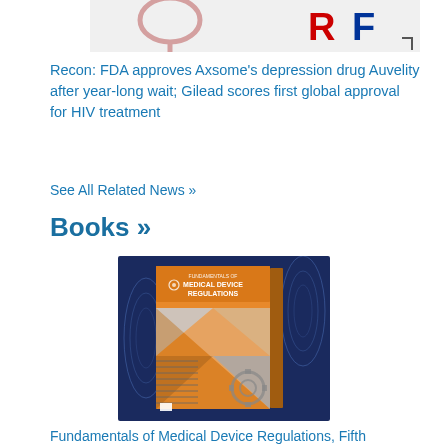[Figure (screenshot): Partial top image showing a stethoscope graphic and 'RF' logo letters in red and blue on white/grey background]
Recon: FDA approves Axsome’s depression drug Auvelity after year-long wait; Gilead scores first global approval for HIV treatment
See All Related News »
Books »
[Figure (photo): Book cover for 'Fundamentals of Medical Device Regulations' displayed against a dark navy blue background with wireframe spiral decorations. The book has an orange cover with geometric triangular and gear graphic designs.]
Fundamentals of Medical Device Regulations, Fifth